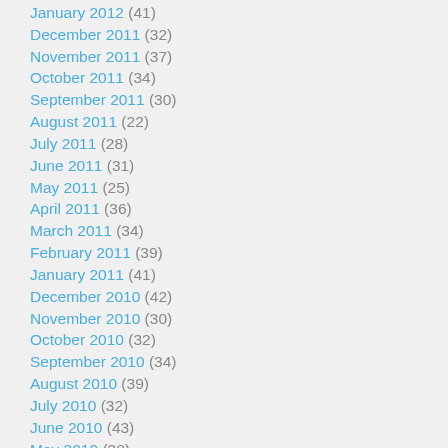January 2012 (41)
December 2011 (32)
November 2011 (37)
October 2011 (34)
September 2011 (30)
August 2011 (22)
July 2011 (28)
June 2011 (31)
May 2011 (25)
April 2011 (36)
March 2011 (34)
February 2011 (39)
January 2011 (41)
December 2010 (42)
November 2010 (30)
October 2010 (32)
September 2010 (34)
August 2010 (39)
July 2010 (32)
June 2010 (43)
May 2010 (38)
April 2010 (40)
March 2010 (4)
February 2010 (3)